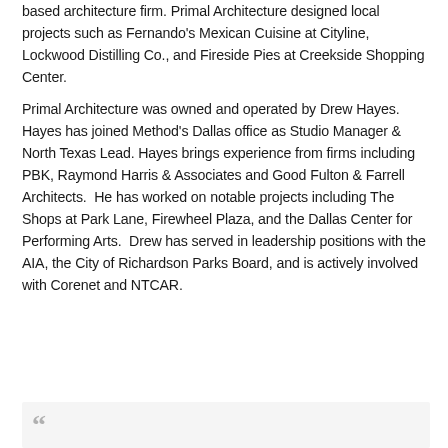based architecture firm. Primal Architecture designed local projects such as Fernando's Mexican Cuisine at Cityline, Lockwood Distilling Co., and Fireside Pies at Creekside Shopping Center.
Primal Architecture was owned and operated by Drew Hayes. Hayes has joined Method's Dallas office as Studio Manager & North Texas Lead. Hayes brings experience from firms including PBK, Raymond Harris & Associates and Good Fulton & Farrell Architects. He has worked on notable projects including The Shops at Park Lane, Firewheel Plaza, and the Dallas Center for Performing Arts. Drew has served in leadership positions with the AIA, the City of Richardson Parks Board, and is actively involved with Corenet and NTCAR.
[Figure (other): Quotation mark graphic inside a light grey box, indicating start of a pull quote]